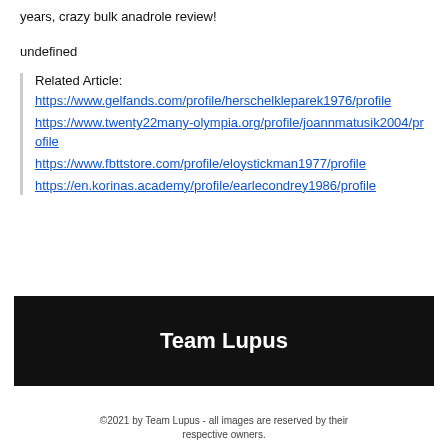years, crazy bulk anadrole review!
undefined
Related Article:
https://www.gelfands.com/profile/herschelkleparek1976/profile
https://www.twenty22many-olympia.org/profile/joannmatusik2004/profile
https://www.fbttstore.com/profile/eloystickman1977/profile
https://en.korinas.academy/profile/earlecondrey1986/profile
Team Lupus
©2021 by Team Lupus - all images are reserved by their respective owners.